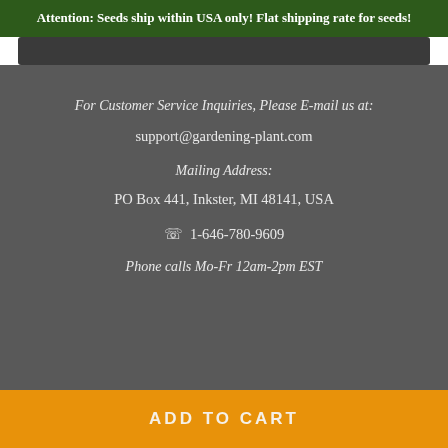Attention: Seeds ship within USA only! Flat shipping rate for seeds!
For Customer Service Inquiries, Please E-mail us at:
support@gardening-plant.com
Mailing Address:
PO Box 441, Inkster, MI 48141, USA
☎  1-646-780-9609
Phone calls Mo-Fr 12am-2pm EST
ADD TO CART